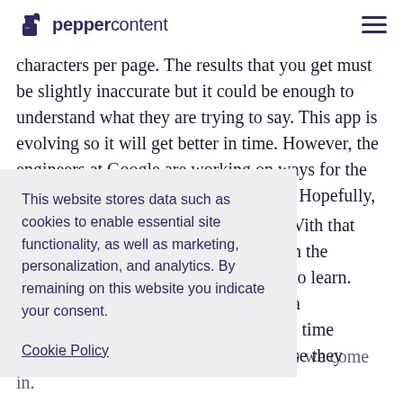peppercontent
characters per page. The results that you get must be slightly inaccurate but it could be enough to understand what they are trying to say. This app is evolving so it will get better in time. However, the engineers at Google are working on ways for the app to be more intelligent and reliable. Hopefully,
This website stores data such as cookies to enable essential site functionality, as well as marketing, personalization, and analytics. By remaining on this website you indicate your consent.
Cookie Policy
With that h the to learn. a l time se they hear conversing this way. This is where we come in.